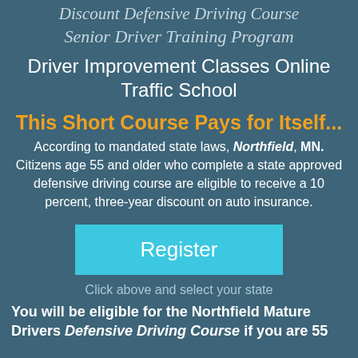Discount Defensive Driving Course
Senior Driver Training Program
Driver Improvement Classes Online Traffic School
This Short Course Pays for Itself...
According to mandated state laws, Northfield, MN. Citizens age 55 and older who complete a state approved defensive driving course are eligible to receive a 10 percent, three-year discount on auto insurance.
Register
Click above and select your state
You will be eligible for the Northfield Mature Drivers Defensive Driving Course if you are 55